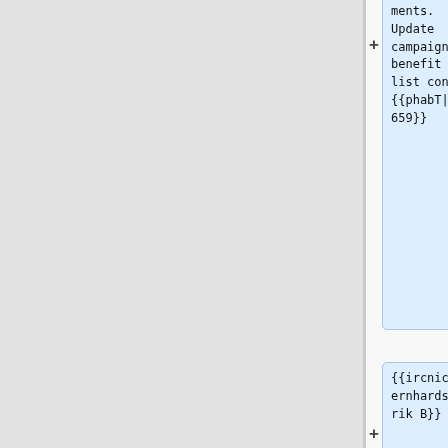ments. Update campaigns benefit list config {{phabT|T305659}}
{{ircnick|ebernhardson|Erik B}}
* [config] {{gerrit|792141}} cirrus: Turn off wbsearchentities AB test
{{ircnick|irc-nickname|Req